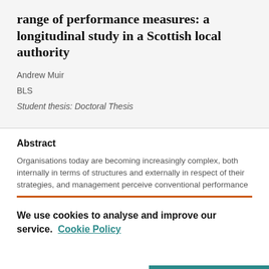range of performance measures: a longitudinal study in a Scottish local authority
Andrew Muir
BLS
Student thesis: Doctoral Thesis
Abstract
Organisations today are becoming increasingly complex, both internally in terms of structures and externally in respect of their strategies, and management perceive conventional performance
We use cookies to analyse and improve our service. Cookie Policy